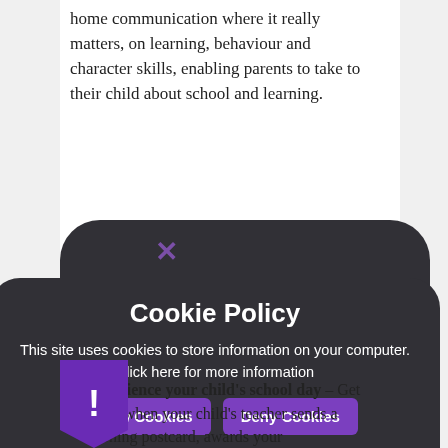home communication where it really matters, on learning, behaviour and character skills, enabling parents to take to their child about school and learning.
[Figure (logo): Marvellous Me app logo - cyan circle with white MARVELLOUS text and stylized M/E letter mark]
[Figure (infographic): Dark rounded overlay / cookie policy modal with close X button in purple, overlaid on page content]
Cookie Policy
This site uses cookies to store information on your computer. Click here for more information
Allow Cookies   Deny Cookies
Experience your child's school day – Get alerts when your child's teacher sends a learning postcard, awards your